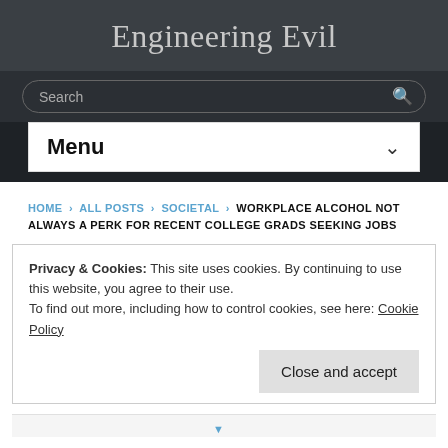Engineering Evil
Search
Menu
HOME › ALL POSTS › SOCIETAL › WORKPLACE ALCOHOL NOT ALWAYS A PERK FOR RECENT COLLEGE GRADS SEEKING JOBS
Privacy & Cookies: This site uses cookies. By continuing to use this website, you agree to their use.
To find out more, including how to control cookies, see here: Cookie Policy
Close and accept